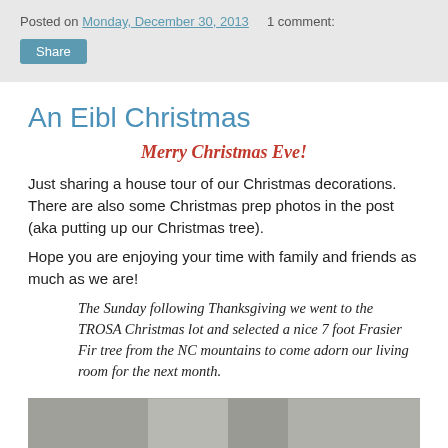Posted on Monday, December 30, 2013   1 comment:
Share
An Eibl Christmas
Merry Christmas Eve!
Just sharing a house tour of our Christmas decorations. There are also some Christmas prep photos in the post (aka putting up our Christmas tree).
Hope you are enjoying your time with family and friends as much as we are!
The Sunday following Thanksgiving we went to the TROSA Christmas lot and selected a nice 7 foot Frasier Fir tree from the NC mountains to come adorn our living room for the next month.
[Figure (photo): Partial photo visible at bottom of page, appears to show Christmas tree setup]